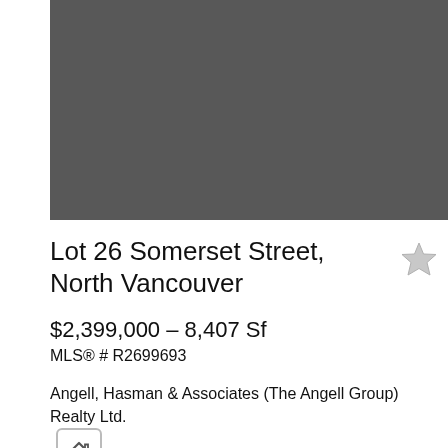[Figure (photo): Property photo placeholder — solid gray rectangle representing a real estate listing image]
Lot 26 Somerset Street, North Vancouver
$2,399,000 – 8,407 Sf
MLS® # R2699693
Angell, Hasman & Associates (The Angell Group) Realty Ltd.